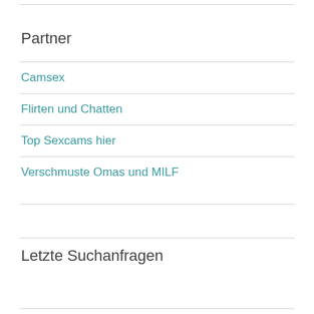Partner
Camsex
Flirten und Chatten
Top Sexcams hier
Verschmuste Omas und MILF
Letzte Suchanfragen